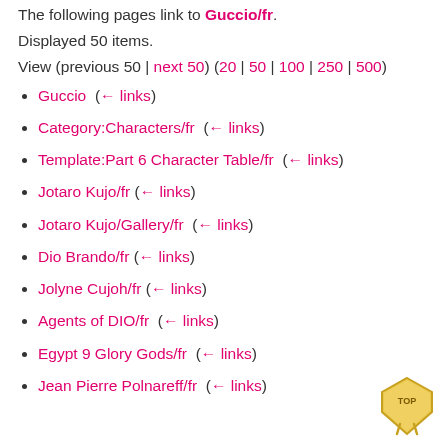The following pages link to Guccio/fr.
Displayed 50 items.
View (previous 50 | next 50) (20 | 50 | 100 | 250 | 500)
Guccio  (← links)
Category:Characters/fr  (← links)
Template:Part 6 Character Table/fr  (← links)
Jotaro Kujo/fr  (← links)
Jotaro Kujo/Gallery/fr  (← links)
Dio Brando/fr  (← links)
Jolyne Cujoh/fr  (← links)
Agents of DIO/fr  (← links)
Egypt 9 Glory Gods/fr  (← links)
Jean Pierre Polnareff/fr  (← links)
[Figure (illustration): TOP icon — gold/yellow shield-shaped arrow pointing upward with 'TOP' text inside]